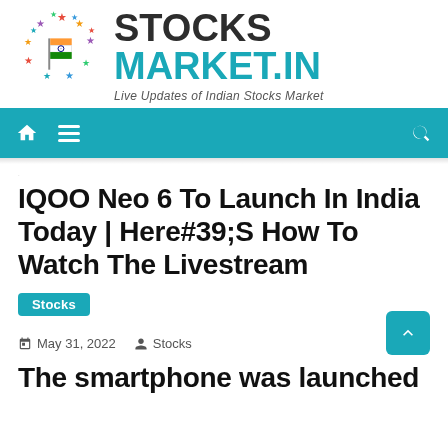[Figure (logo): StocksMarket.in logo with circular arrangement of colorful stars around Indian flag, and bold text STOCKS MARKET.IN with tagline 'Live Updates of Indian Stocks Market']
Home | Menu | Search navigation bar
IQOO Neo 6 To Launch In India Today | Here#39;S How To Watch The Livestream
Stocks
May 31, 2022   Stocks
The smartphone was launched